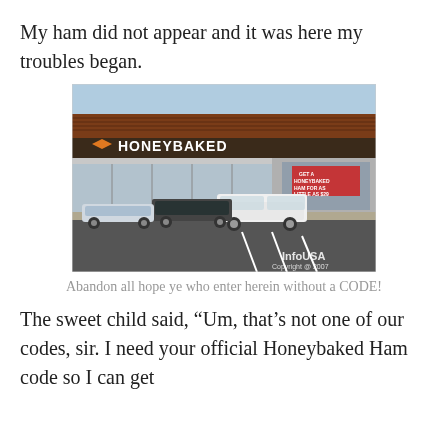My ham did not appear and it was here my troubles began.
[Figure (photo): Exterior photo of a Honeybaked Ham store in a strip mall with cars parked in front. The store sign reads 'HONEYBAKED'. Watermark reads 'InfoUSA Copyright @ 2007'.]
Abandon all hope ye who enter herein without a CODE!
The sweet child said, “Um, that’s not one of our codes, sir. I need your official Honeybaked Ham code so I can get...